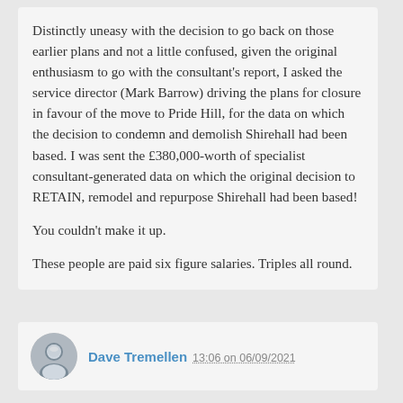Distinctly uneasy with the decision to go back on those earlier plans and not a little confused, given the original enthusiasm to go with the consultant's report, I asked the service director (Mark Barrow) driving the plans for closure in favour of the move to Pride Hill, for the data on which the decision to condemn and demolish Shirehall had been based. I was sent the £380,000-worth of specialist consultant-generated data on which the original decision to RETAIN, remodel and repurpose Shirehall had been based!

You couldn't make it up.

These people are paid six figure salaries. Triples all round.
Dave Tremellen 13:06 on 06/09/2021